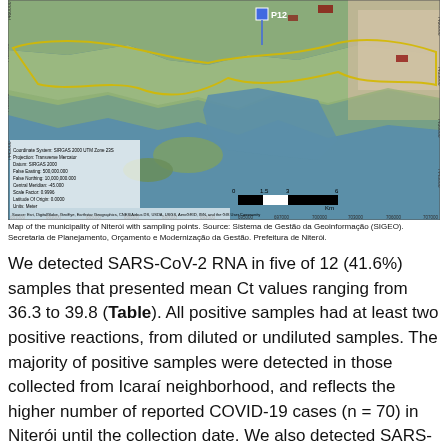[Figure (map): Satellite/aerial map of the municipality of Niterói showing coastline, water bodies, urban areas, and a sampling point labeled P12. Includes coordinate grid, scale bar (0-1.5-3-6 km), coordinate system information (SIRGAS 2000 UTM Zone 23S), and legend. Yellow outline delineates the municipal boundary along the coast.]
Map of the municipality of Niterói with sampling points. Source: Sistema de Gestão da Geoinformação (SIGEO). Secretaria de Planejamento, Orçamento e Modernização da Gestão. Prefeitura de Niterói.
We detected SARS-CoV-2 RNA in five of 12 (41.6%) samples that presented mean Ct values ranging from 36.3 to 39.8 (Table). All positive samples had at least two positive reactions, from diluted or undiluted samples. The majority of positive samples were detected in those collected from Icaraí neighborhood, and reflects the higher number of reported COVID-19 cases (n = 70) in Niterói until the collection date. We also detected SARS-CoV-2 RNA in one sample at Camboinhas STP, demonstrating the expansion of the outbreak to other areas of the city (Figure). Since there is still no consensus on the use of a set of more effective primers to detect SARS-Cov-2 in environmental samples,(4) we believe that new studies using primers targeting different genome regions should be